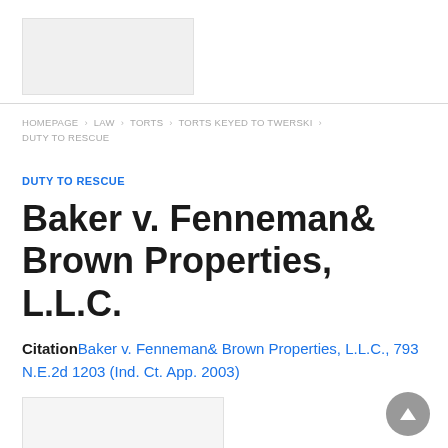[Figure (other): Logo or image placeholder at top left]
HOMEPAGE > LAW > TORTS > TORTS KEYED TO TWERSKI > DUTY TO RESCUE
DUTY TO RESCUE
Baker v. Fenneman& Brown Properties, L.L.C.
Citation Baker v. Fenneman& Brown Properties, L.L.C., 793 N.E.2d 1203 (Ind. Ct. App. 2003)
[Figure (other): Image or content placeholder at bottom left]